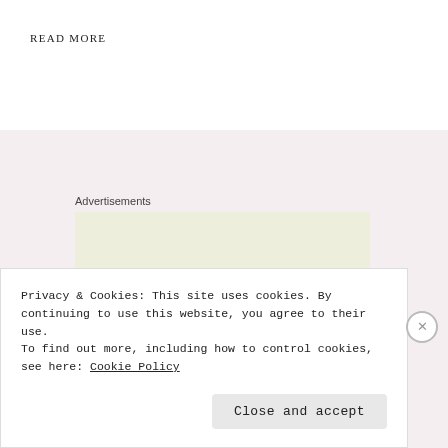READ MORE
Advertisements
[Figure (logo): WordPress logo — circular badge with W lettermark in black]
Privacy & Cookies: This site uses cookies. By continuing to use this website, you agree to their use.
To find out more, including how to control cookies, see here: Cookie Policy
Close and accept